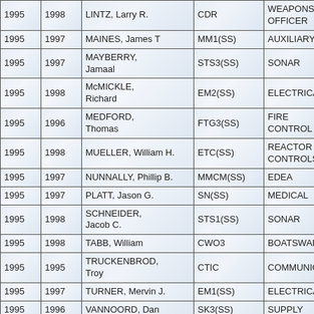|  |  | Name | Rank/Rate | Department |
| --- | --- | --- | --- | --- |
| 1995 | 1998 | LINTZ, Larry R. | CDR | WEAPONS/NAVIGATION/O OFFICER |
| 1995 | 1997 | MAINES, James T | MM1(SS) | AUXILIARY |
| 1995 | 1997 | MAYBERRY, Jamaal | STS3(SS) | SONAR |
| 1995 | 1998 | McMICKLE, Richard | EM2(SS) | ELECTRICAL |
| 1995 | 1996 | MEDFORD, Thomas | FTG3(SS) | FIRE CONTROL |
| 1995 | 1998 | MUELLER, William H. | ETC(SS) | REACTOR CONTROLS |
| 1995 | 1997 | NUNNALLY, Phillip B. | MMCM(SS) | EDEA |
| 1995 | 1997 | PLATT, Jason G. | SN(SS) | MEDICAL |
| 1995 | 1998 | SCHNEIDER, Jacob C. | STS1(SS) | SONAR |
| 1995 | 1998 | TABB, William | CWO3 | BOATSWAIN |
| 1995 | 1995 | TRUCKENBROD, Troy | CTIC | COMMUNICATIONS |
| 1995 | 1997 | TURNER, Mervin J. | EM1(SS) | ELECTRICAL |
| 1995 | 1996 | VANNOORD, Dan | SK3(SS) | SUPPLY |
|  |  | WERNER, Mark S. |  |  |